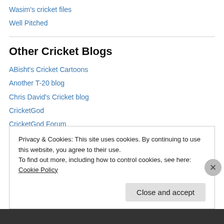Wasim's cricket files
Well Pitched
Other Cricket Blogs
ABisht's Cricket Cartoons
Another T-20 blog
Chris David's Cricket blog
CricketGod
CricketGod Forum
CricketOne
CricketWrite
Privacy & Cookies: This site uses cookies. By continuing to use this website, you agree to their use. To find out more, including how to control cookies, see here: Cookie Policy
Close and accept